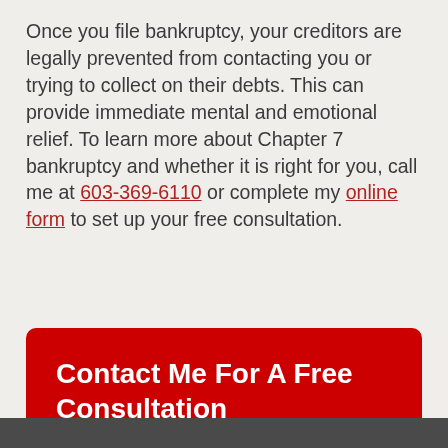Once you file bankruptcy, your creditors are legally prevented from contacting you or trying to collect on their debts. This can provide immediate mental and emotional relief. To learn more about Chapter 7 bankruptcy and whether it is right for you, call me at 603-369-6110 or complete my online form to set up your free consultation.
Contact Me For A Free Consultation